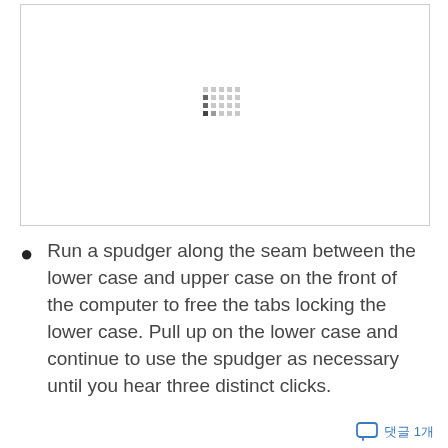[Figure (other): Large white image box with a faint pixel/dot loading indicator pattern in the center (gray dots arranged in a grid pattern suggesting an image placeholder or loading state)]
Run a spudger along the seam between the lower case and upper case on the front of the computer to free the tabs locking the lower case. Pull up on the lower case and continue to use the spudger as necessary until you hear three distinct clicks.
댓글 1개